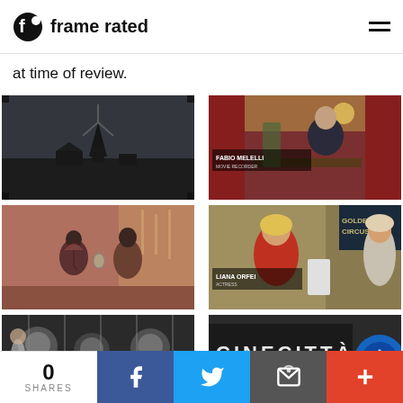frame rated
at time of review.
[Figure (photo): Black and white still of a windmill in a misty or rainy landscape]
[Figure (photo): Man in dark jacket sitting at a table with text overlay 'FABIO MELELLI MOVIE RECORDER']
[Figure (photo): Two figures standing with umbrella in a reddish-toned scene]
[Figure (photo): Blonde woman in red scarf with text overlay 'LIANA ORFEI' and partial text of a circus sign]
[Figure (photo): Black and white photo of lions]
[Figure (photo): Sign reading 'CINECITTA' with partial blue circular logo]
0 SHARES